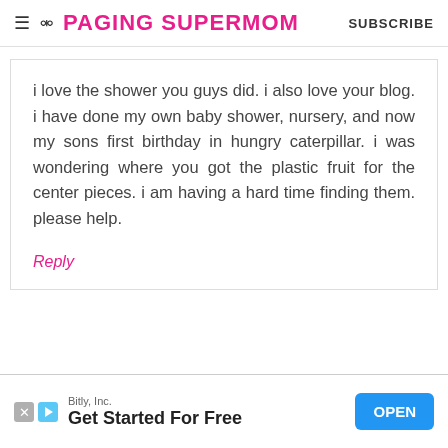PAGING SUPERMOM | SUBSCRIBE
i love the shower you guys did. i also love your blog. i have done my own baby shower, nursery, and now my sons first birthday in hungry caterpillar. i was wondering where you got the plastic fruit for the center pieces. i am having a hard time finding them. please help.
Reply
[Figure (screenshot): Advertisement banner for Bitly, Inc. with 'Get Started For Free' text and an OPEN button]